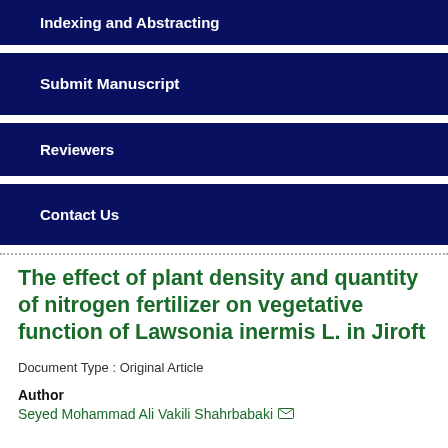Indexing and Abstracting
Submit Manuscript
Reviewers
Contact Us
The effect of plant density and quantity of nitrogen fertilizer on vegetative function of Lawsonia inermis L. in Jiroft
Document Type : Original Article
Author
Seyed Mohammad Ali Vakili Shahrbabaki